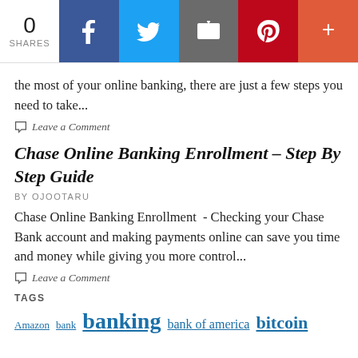[Figure (infographic): Social share bar with 0 shares count, and buttons for Facebook, Twitter, Email, Pinterest, and More (+)]
the most of your online banking, there are just a few steps you need to take...
Leave a Comment
Chase Online Banking Enrollment – Step By Step Guide
BY OJOOTARU
Chase Online Banking Enrollment  - Checking your Chase Bank account and making payments online can save you time and money while giving you more control...
Leave a Comment
TAGS
Amazon  bank  banking  bank of america  bitcoin